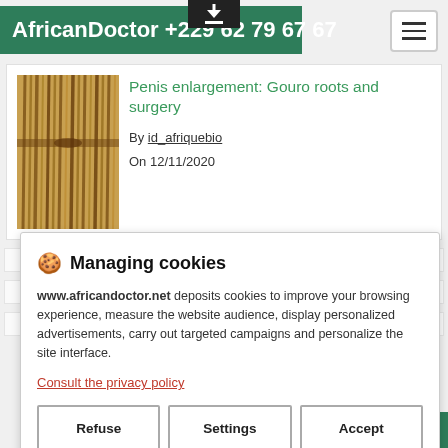AfricanDoctor +229 62 79 67 67
[Figure (photo): Bundled sticks or roots, golden-brown in color, tightly packed together]
Penis enlargement: Gouro roots and surgery
By id_afriquebio
On 12/11/2020
🍪 Managing cookies
www.africandoctor.net deposits cookies to improve your browsing experience, measure the website audience, display personalized advertisements, carry out targeted campaigns and personalize the site interface.
Consult the privacy policy
Refuse | Settings | Accept